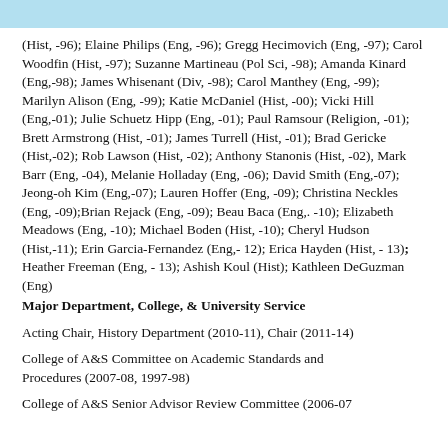(Hist, -96); Elaine Philips (Eng, -96); Gregg Hecimovich (Eng, -97); Carol Woodfin (Hist, -97); Suzanne Martineau (Pol Sci, -98); Amanda Kinard (Eng,-98); James Whisenant (Div, -98); Carol Manthey (Eng, -99); Marilyn Alison (Eng, -99); Katie McDaniel (Hist, -00); Vicki Hill (Eng,-01); Julie Schuetz Hipp (Eng, -01); Paul Ramsour (Religion, -01); Brett Armstrong (Hist, -01); James Turrell (Hist, -01); Brad Gericke (Hist,-02); Rob Lawson (Hist, -02); Anthony Stanonis (Hist, -02), Mark Barr (Eng, -04), Melanie Holladay (Eng, -06); David Smith (Eng,-07); Jeong-oh Kim (Eng,-07); Lauren Hoffer (Eng, -09); Christina Neckles (Eng, -09);Brian Rejack (Eng, -09); Beau Baca (Eng,. -10); Elizabeth Meadows (Eng, -10); Michael Boden (Hist, -10); Cheryl Hudson (Hist,-11); Erin Garcia-Fernandez (Eng,- 12); Erica Hayden (Hist, - 13); Heather Freeman (Eng, - 13); Ashish Koul (Hist); Kathleen DeGuzman (Eng)
Major Department, College, & University Service
Acting Chair, History Department (2010-11), Chair (2011-14)
College of A&S Committee on Academic Standards and Procedures (2007-08, 1997-98)
College of A&S Senior Advisor Review Committee (2006-07